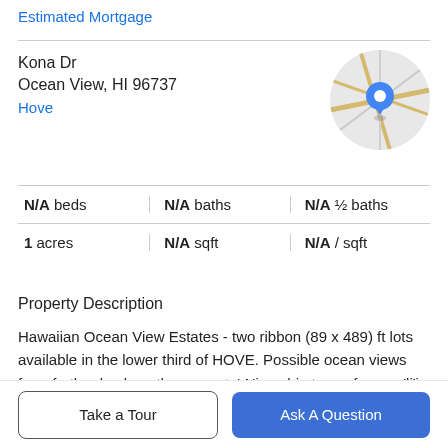Estimated Mortgage
Kona Dr
Ocean View, HI 96737
Hove
[Figure (map): Circular map thumbnail showing road map with a blue location pin marker in the center, with tan/yellow roads on light grey background.]
| N/A beds | N/A baths | N/A ½ baths |
| 1 acres | N/A sqft | N/A / sqft |
Property Description
Hawaiian Ocean View Estates - two ribbon (89 x 489) ft lots available in the lower third of HOVE. Possible ocean views from further back on the property! Nice ohia trees, ferns, a'li'i and more vegetation are present. Lots are side
by side and must be sold together, but seller will consider
Take a Tour
Ask A Question